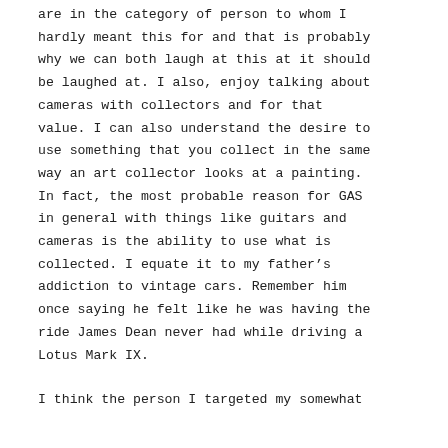are in the category of person to whom I hardly meant this for and that is probably why we can both laugh at this at it should be laughed at. I also, enjoy talking about cameras with collectors and for that value. I can also understand the desire to use something that you collect in the same way an art collector looks at a painting. In fact, the most probable reason for GAS in general with things like guitars and cameras is the ability to use what is collected. I equate it to my father’s addiction to vintage cars. Remember him once saying he felt like he was having the ride James Dean never had while driving a Lotus Mark IX.
I think the person I targeted my somewhat